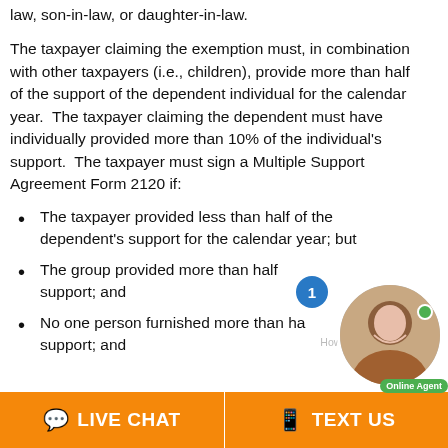law, son-in-law, or daughter-in-law.
The taxpayer claiming the exemption must, in combination with other taxpayers (i.e., children), provide more than half of the support of the dependent individual for the calendar year.  The taxpayer claiming the dependent must have individually provided more than 10% of the individual's support.  The taxpayer must sign a Multiple Support Agreement Form 2120 if:
The taxpayer provided less than half of the dependent's support for the calendar year; but
The group provided more than half [of the] support; and
No one person furnished more than ha[lf of the] support; and